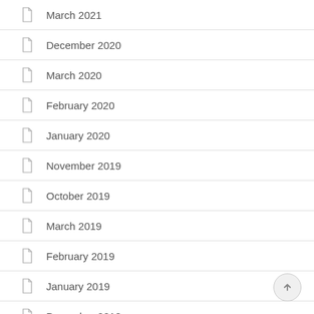March 2021
December 2020
March 2020
February 2020
January 2020
November 2019
October 2019
March 2019
February 2019
January 2019
December 2018
October 2018
April 2018
March 2018